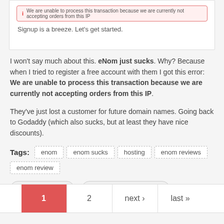[Figure (screenshot): Screenshot of a webpage showing a red error banner that reads 'We are unable to process this transaction because we are currently not accepting orders from this IP' and text 'Signup is a breeze. Let's get started.']
I won't say much about this. eNom just sucks. Why? Because when I tried to register a free account with them I got this error: We are unable to process this transaction because we are currently not accepting orders from this IP.
They've just lost a customer for future domain names. Going back to Godaddy (which also sucks, but at least they have nice discounts).
Tags: enom  enom sucks  hosting  enom reviews  enom review
READ MORE
ADD NEW COMMENT
1  2  next›  last»